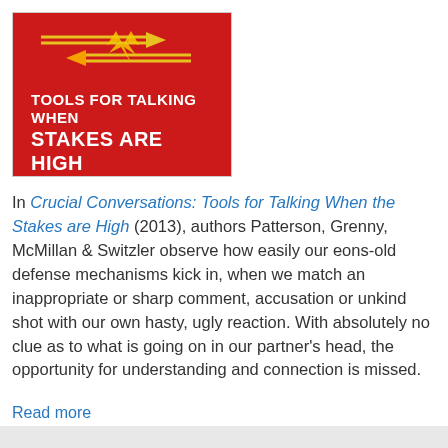[Figure (illustration): Book cover of 'Crucial Conversations: Tools for Talking When Stakes Are High' — red background with yellow and white arrow graphics and white bold text]
In Crucial Conversations: Tools for Talking When the Stakes are High (2013), authors Patterson, Grenny, McMillan & Switzler observe how easily our eons-old defense mechanisms kick in, when we match an inappropriate or sharp comment, accusation or unkind shot with our own hasty, ugly reaction. With absolutely no clue as to what is going on in our partner's head, the opportunity for understanding and connection is missed.
Read more